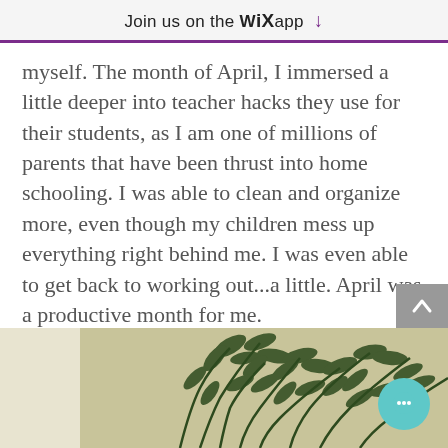Join us on the WiX app ↓
myself. The month of April, I immersed a little deeper into teacher hacks they use for their students, as I am one of millions of parents that have been thrust into home schooling. I was able to clean and organize more, even though my children mess up everything right behind me. I was even able to get back to working out...a little. April was a productive month for me.
[Figure (photo): Photo of green leafy plant branches against a tan/beige wall background, partially visible at the bottom of the page.]